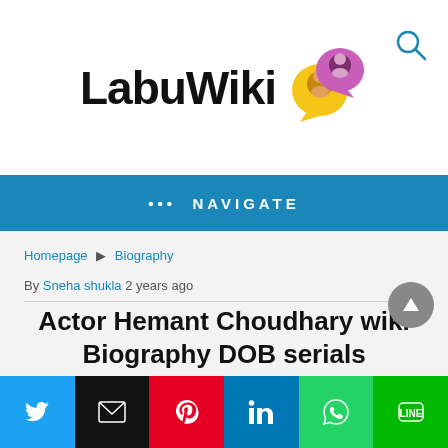[Figure (logo): LabuWiki logo with two cartoon avatar speech-bubble icons (yellow and purple/pink) and a search icon in top right]
••• NAVIGATE
Homepage ▶ Biography
By Sneha shukla 2 years ago
Actor Hemant Choudhary wiki Biography DOB serials
[Figure (photo): Partial photo of a person, cropped at bottom of page]
[Figure (infographic): Social share bar with Twitter, Email, Pinterest, LinkedIn, WhatsApp, and LINE buttons]